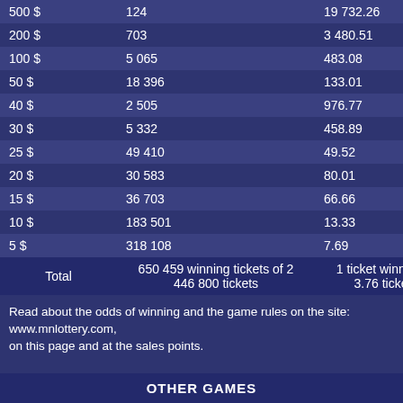| Prize | Count | Odds |
| --- | --- | --- |
| 500 $ | 124 | 19 732.26 |
| 200 $ | 703 | 3 480.51 |
| 100 $ | 5 065 | 483.08 |
| 50 $ | 18 396 | 133.01 |
| 40 $ | 2 505 | 976.77 |
| 30 $ | 5 332 | 458.89 |
| 25 $ | 49 410 | 49.52 |
| 20 $ | 30 583 | 80.01 |
| 15 $ | 36 703 | 66.66 |
| 10 $ | 183 501 | 13.33 |
| 5 $ | 318 108 | 7.69 |
| Total | 650 459 winning tickets of 2 446 800 tickets | 1 ticket winning in 3.76 tickets |
Read about the odds of winning and the game rules on the site:
www.mnlottery.com,
on this page and at the sales points.
OTHER GAMES